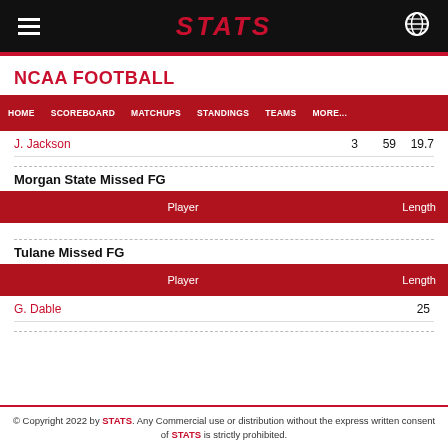STATS
NCAA FOOTBALL
| HOME | SCOREBOARD | MATCHUPS | STANDINGS | TEAMS | MORE... |
| --- | --- | --- | --- | --- | --- |
J. Jackson	3	59	19.7
Morgan State Missed FG
| Player | Length |
| --- | --- |
Tulane Missed FG
| Player | Length |
| --- | --- |
| G. Dable | 25 |
© Copyright 2022 by STATS. Any Commercial use or distribution without the express written consent of STATS is strictly prohibited.